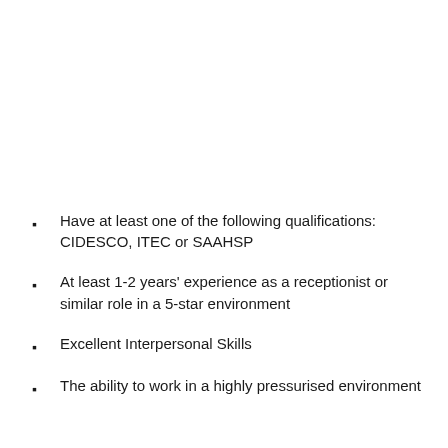Have at least one of the following qualifications: CIDESCO, ITEC or SAAHSP
At least 1-2 years' experience as a receptionist or similar role in a 5-star environment
Excellent Interpersonal Skills
The ability to work in a highly pressurised environment